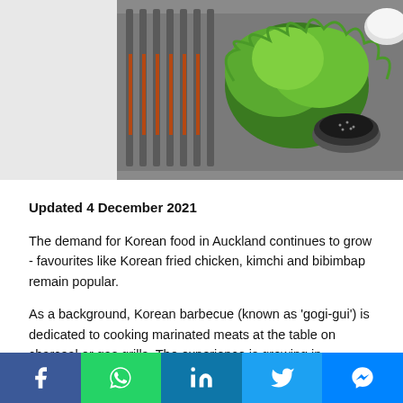[Figure (photo): Korean BBQ grill with metal grate and charcoal heating elements, green lettuce leaves and a small bowl of dark dipping sauce on a tray]
Updated 4 December 2021
The demand for Korean food in Auckland continues to grow - favourites like Korean fried chicken, kimchi and bibimbap remain popular.
As a background, Korean barbecue (known as 'gogi-gui') is dedicated to cooking marinated meats at the table on charcoal or gas grills. The experience is growing in popularity in all corners of Auckland. There are more than twenty Korean BBQ restaurants
Facebook | WhatsApp | LinkedIn | Twitter | Messenger